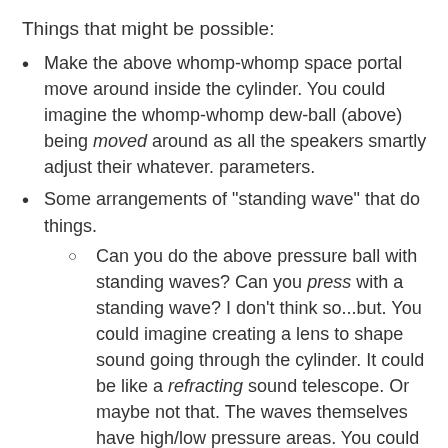Things that might be possible:
Make the above whomp-whomp space portal move around inside the cylinder. You could imagine the whomp-whomp dew-ball (above) being moved around as all the speakers smartly adjust their whatever. parameters.
Some arrangements of "standing wave" that do things.
Can you do the above pressure ball with standing waves? Can you press with a standing wave? I don't think so...but. You could imagine creating a lens to shape sound going through the cylinder. It could be like a refracting sound telescope. Or maybe not that. The waves themselves have high/low pressure areas. You could deep-learn something, surely. Combine them up. A lens...